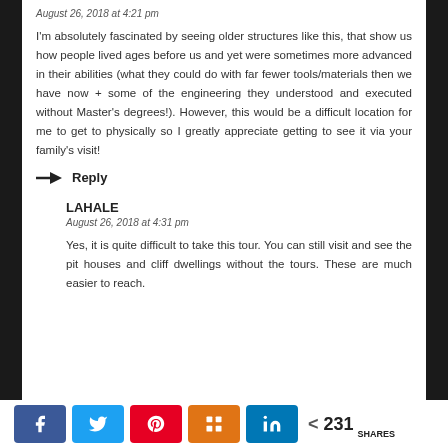August 26, 2018 at 4:21 pm
I'm absolutely fascinated by seeing older structures like this, that show us how people lived ages before us and yet were sometimes more advanced in their abilities (what they could do with far fewer tools/materials then we have now + some of the engineering they understood and executed without Master's degrees!). However, this would be a difficult location for me to get to physically so I greatly appreciate getting to see it via your family's visit!
→ Reply
LAHALE
August 26, 2018 at 4:31 pm
Yes, it is quite difficult to take this tour. You can still visit and see the pit houses and cliff dwellings without the tours. These are much easier to reach.